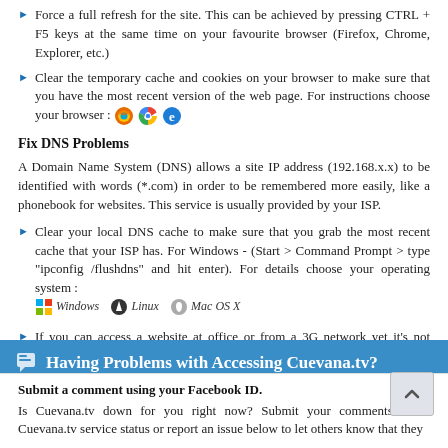Force a full refresh for the site. This can be achieved by pressing CTRL + F5 keys at the same time on your favourite browser (Firefox, Chrome, Explorer, etc.)
Clear the temporary cache and cookies on your browser to make sure that you have the most recent version of the web page. For instructions choose your browser : [Firefox icon] [Chrome icon] [IE icon]
Fix DNS Problems
A Domain Name System (DNS) allows a site IP address (192.168.x.x) to be identified with words (*.com) in order to be remembered more easily, like a phonebook for websites. This service is usually provided by your ISP.
Clear your local DNS cache to make sure that you grab the most recent cache that your ISP has. For Windows - (Start > Command Prompt > type "ipconfig /flushdns" and hit enter). For details choose your operating system : Windows Linux Mac OS X
If you can access a website at office or from a 3G network yet it's not working on your computer, it is a good idea to use an alternative DNS service other than your ISPs. OpenDNS or Google Public DNS are both excellent and free public DNS services.
Check our help page for step-by-step instructions on how to change your DNS.
Having Problems with Accessing Cuevana.tv?
Submit a comment using your Facebook ID.
Is Cuevana.tv down for you right now? Submit your comments about Cuevana.tv service status or report an issue below to let others know that they